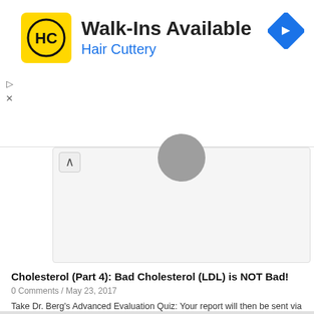[Figure (screenshot): Hair Cuttery advertisement banner with yellow logo showing HC initials, text 'Walk-Ins Available' and 'Hair Cuttery' in blue, and a blue navigation arrow icon on the right]
[Figure (screenshot): User profile card area with gray avatar circle at top and chevron/collapse button, light gray background card]
Cholesterol (Part 4): Bad Cholesterol (LDL) is NOT Bad!
0 Comments / May 23, 2017
Take Dr. Berg's Advanced Evaluation Quiz: Your report will then be sent via email analyzing 104 potential symptoms, giving you a much deeper insight into the cause-effect relationship of your body issues. It's free and very enlightening. PART 1: PART 2: PART 3: LDL is not cholesterol, Low density lipoprotein is a protein that shuttles…